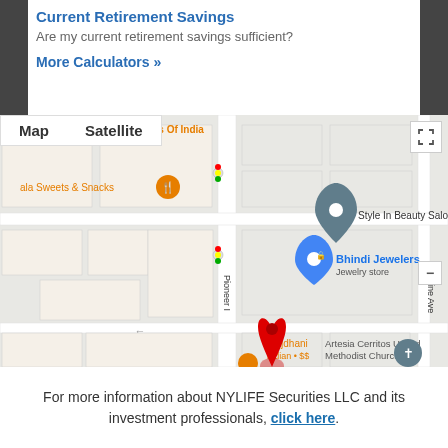Current Retirement Savings
Are my current retirement savings sufficient?
More Calculators »
[Figure (map): Google Map showing local area with markers for Style In Beauty Salon, Bhindi Jewelers (Jewelry store), Rajdhani Indian $$, Artesia Cerritos United Methodist Church, and New Flavors Of India. Street names include Pioneer Blvd and Arine Ave. Map/Satellite toggle and fullscreen button visible.]
For more information about NYLIFE Securities LLC and its investment professionals, click here.